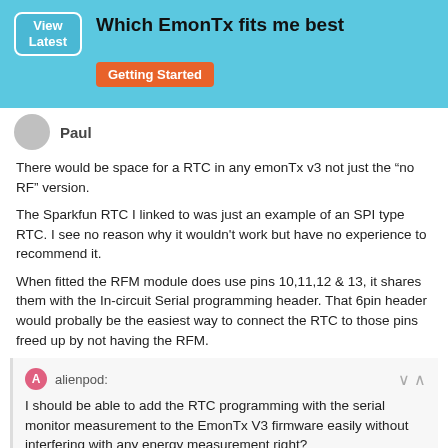Which EmonTx fits me best | Getting Started
Paul
There would be space for a RTC in any emonTx v3 not just the “no RF” version.
The Sparkfun RTC I linked to was just an example of an SPI type RTC. I see no reason why it wouldn't work but have no experience to recommend it.
When fitted the RFM module does use pins 10,11,12 & 13, it shares them with the In-circuit Serial programming header. That 6pin header would probally be the easiest way to connect the RTC to those pins freed up by not having the RFM.
alienpod: I should be able to add the RTC programming with the serial monitor measurement to the EmonTx V3 firmware easily without interfering with any energy measurement right?